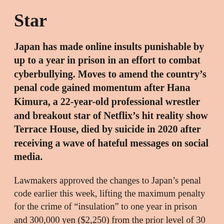Star
Japan has made online insults punishable by up to a year in prison in an effort to combat cyberbullying. Moves to amend the country's penal code gained momentum after Hana Kimura, a 22-year-old professional wrestler and breakout star of Netflix's hit reality show Terrace House, died by suicide in 2020 after receiving a wave of hateful messages on social media.
Lawmakers approved the changes to Japan's penal code earlier this week, lifting the maximum penalty for the crime of “insulation” to one year in prison and 300,000 yen ($2,250) from the prior level of 30 days detention and